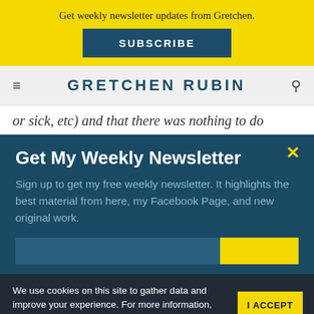Get weekly newsletter updates from Gretchen.
SUBSCRIBE
GRETCHEN RUBIN
or sick, etc) and that there was nothing to do
Get My Weekly Newsletter
Sign up to get my free weekly newsletter. It highlights the best material from here, my Facebook Page, and new original work.
We use cookies on this site to gather data and improve your experience. For more information, see our Privacy Policy
I ACCEPT